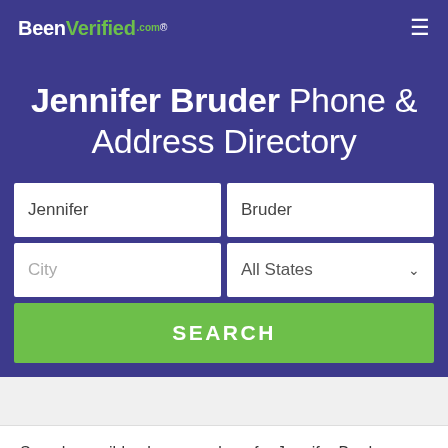BeenVerified.com
Jennifer Bruder Phone & Address Directory
[Figure (screenshot): Search form with fields: Jennifer, Bruder, City, All States dropdown, and SEARCH button]
Search possible phone numbers for Jennifer Bruder.